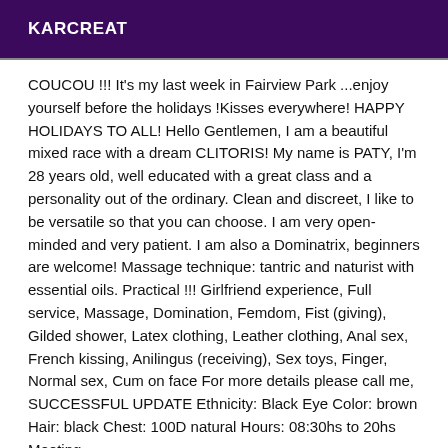KARCREAT
COUCOU !!! It's my last week in Fairview Park ...enjoy yourself before the holidays !Kisses everywhere! HAPPY HOLIDAYS TO ALL! Hello Gentlemen, I am a beautiful mixed race with a dream CLITORIS! My name is PATY, I'm 28 years old, well educated with a great class and a personality out of the ordinary. Clean and discreet, I like to be versatile so that you can choose. I am very open-minded and very patient. I am also a Dominatrix, beginners are welcome! Massage technique: tantric and naturist with essential oils. Practical !!! Girlfriend experience, Full service, Massage, Domination, Femdom, Fist (giving), Gilded shower, Latex clothing, Leather clothing, Anal sex, French kissing, Anilingus (receiving), Sex toys, Finger, Normal sex, Cum on face For more details please call me, SUCCESSFUL UPDATE Ethnicity: Black Eye Color: brown Hair: black Chest: 100D natural Hours: 08:30hs to 20hs Meeting